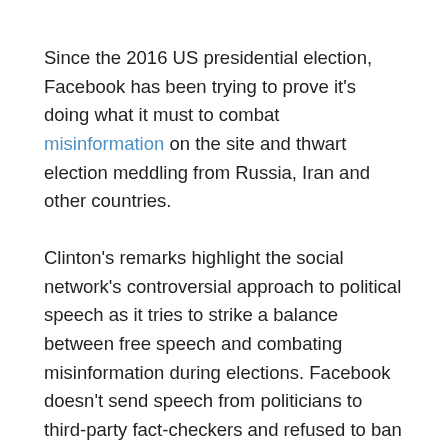Since the 2016 US presidential election, Facebook has been trying to prove it's doing what it must to combat misinformation on the site and thwart election meddling from Russia, Iran and other countries.
Clinton's remarks highlight the social network's controversial approach to political speech as it tries to strike a balance between free speech and combating misinformation during elections. Facebook doesn't send speech from politicians to third-party fact-checkers and refused to ban political ads, arguing that this would favor incumbents and whomever the media chooses to cover.